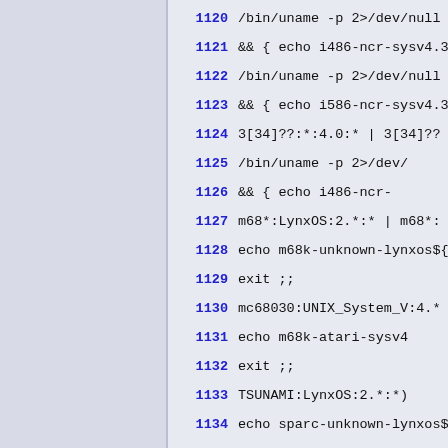1120  /bin/uname -p 2>/dev/null |
1121      && { echo i486-ncr-sysv4.3
1122  /bin/uname -p 2>/dev/null |
1123      && { echo i586-ncr-sysv4.3
1124      3[34]??:*:4.0:* | 3[34]??
1125          /bin/uname -p 2>/dev/
1126              && { echo i486-ncr-
1127      m68*:LynxOS:2.*:* | m68*:
1128  echo m68k-unknown-lynxos${UN
1129  exit ;;
1130      mc68030:UNIX_System_V:4.*
1131  echo m68k-atari-sysv4
1132  exit ;;
1133      TSUNAMI:LynxOS:2.*:*)
1134  echo sparc-unknown-lynxos${U
1135  exit ;;